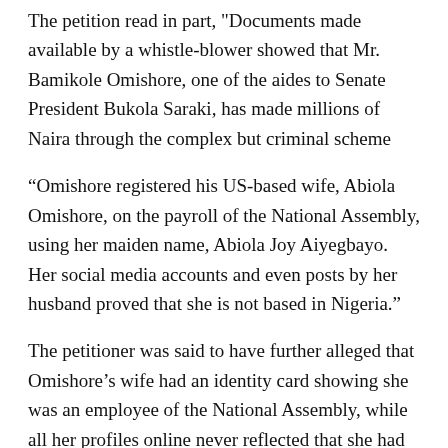The petition read in part, "Documents made available by a whistle-blower showed that Mr. Bamikole Omishore, one of the aides to Senate President Bukola Saraki, has made millions of Naira through the complex but criminal scheme
“Omishore registered his US-based wife, Abiola Omishore, on the payroll of the National Assembly, using her maiden name, Abiola Joy Aiyegbayo. Her social media accounts and even posts by her husband proved that she is not based in Nigeria.”
The petitioner was said to have further alleged that Omishore’s wife had an identity card showing she was an employee of the National Assembly, while all her profiles online never reflected that she had worked with the Assembly.
The petition further stated: "On this account, HEDA is calling on you to investigate this claim of fraud and